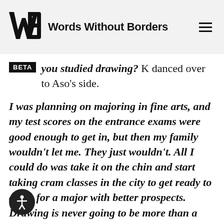Words Without Borders
you studied drawing? K danced over to Aso's side.
I was planning on majoring in fine arts, and my test scores on the entrance exams were good enough to get in, but then my family wouldn't let me. They just wouldn't. All I could do was take it on the chin and start taking cram classes in the city to get ready to apply for a major with better prospects. Drawing is never going to be more than a pastime.
I don't know which of us is the lucky one! You wanted to study fine art, but couldn't; I love to dance, and I did get into a dance academy. But you still have the